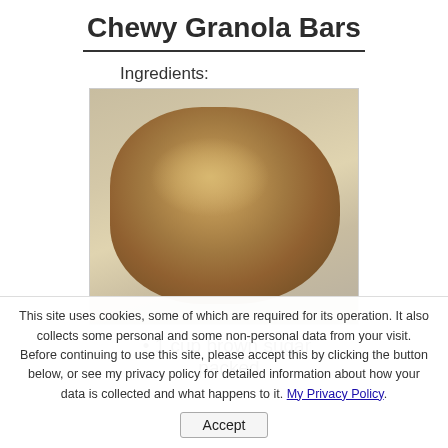Chewy Granola Bars
Ingredients:
[Figure (photo): A pile of granola/chewy granola bar mixture showing oats and brown sugar clumps on a light grey/white background]
1 cup brown sugar, packed
This site uses cookies, some of which are required for its operation. It also collects some personal and some non-personal data from your visit. Before continuing to use this site, please accept this by clicking the button below, or see my privacy policy for detailed information about how your data is collected and what happens to it. My Privacy Policy.